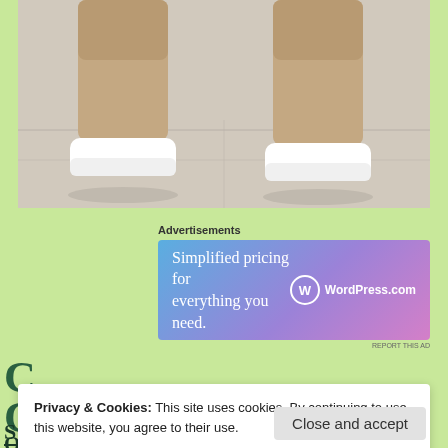[Figure (photo): Photo showing the lower legs and feet of a child wearing white socks, standing on a light-colored tiled floor.]
Advertisements
[Figure (screenshot): WordPress.com advertisement banner with text 'Simplified pricing for everything you need.' and the WordPress.com logo on a blue-to-pink gradient background.]
REPORT THIS AD
Privacy & Cookies: This site uses cookies. By continuing to use this website, you agree to their use.
To find out more, including how to control cookies, see here: Cookie Policy
Close and accept
Quixote because the music is really beautiful.